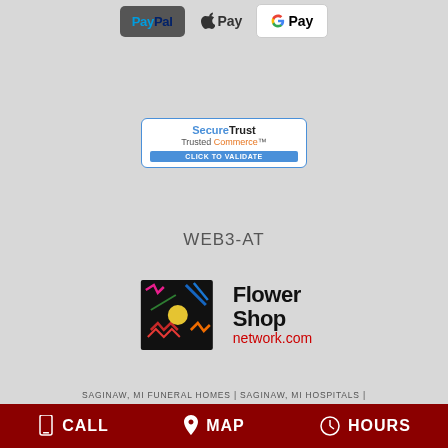[Figure (logo): PayPal, Apple Pay, and Google Pay payment logos]
[Figure (logo): SecureTrust Trusted Commerce - Click to Validate badge]
WEB3-AT
[Figure (logo): Flower Shop Network logo with colorful flower graphic and text 'Flower Shop network.com']
SAGINAW, MI FUNERAL HOMES | SAGINAW, MI HOSPITALS | SAGINAW, MI WEDDING FLOWER VENDORS SAGINAW, MI WEATHER | MI STATE GOVERNMENT SITE PRIVACY POLICY | TERMS OF PURCHASE
CALL  MAP  HOURS